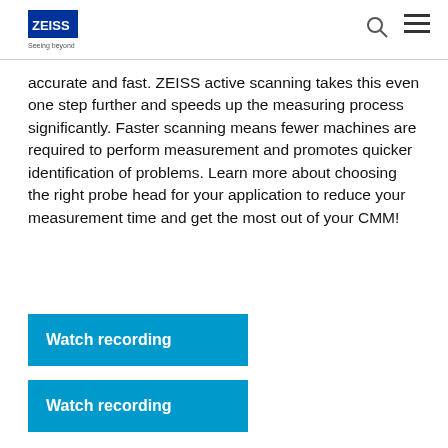ZEISS | Seeing beyond
accurate and fast. ZEISS active scanning takes this even one step further and speeds up the measuring process significantly. Faster scanning means fewer machines are required to perform measurement and promotes quicker identification of problems. Learn more about choosing the right probe head for your application to reduce your measurement time and get the most out of your CMM!
Watch recording
Watch recording